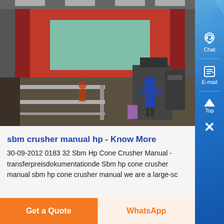[Figure (photo): Industrial factory floor showing large machinery with red structure in background, workers in blue uniforms, metal workbenches/frames in foreground, fluorescent lighting overhead]
sbm crusher manual hp - Know More
30-09-2012 0183 32 Sbm Hp Cone Crusher Manual - transferpreisdokumentationde Sbm hp cone crusher manual sbm hp cone crusher manual we are a large-sc